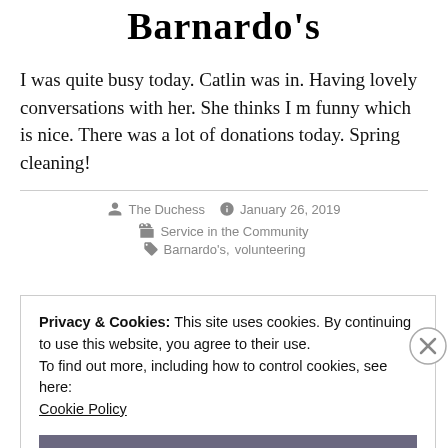Barnardo's
I was quite busy today. Catlin was in. Having lovely conversations with her. She thinks I m funny which is nice. There was a lot of donations today. Spring cleaning!
By The Duchess  January 26, 2019  Service in the Community  Barnardo's, volunteering
Privacy & Cookies: This site uses cookies. By continuing to use this website, you agree to their use.
To find out more, including how to control cookies, see here:
Cookie Policy
Close and accept